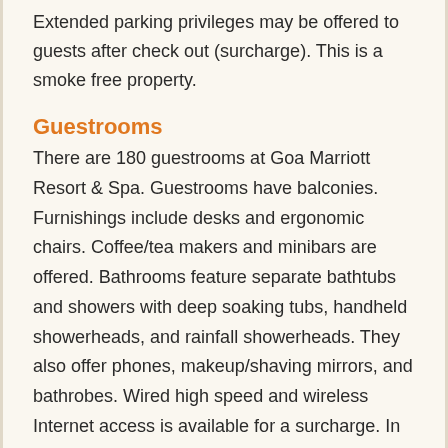Extended parking privileges may be offered to guests after check out (surcharge). This is a smoke free property.
Guestrooms
There are 180 guestrooms at Goa Marriott Resort & Spa. Guestrooms have balconies. Furnishings include desks and ergonomic chairs. Coffee/tea makers and minibars are offered. Bathrooms feature separate bathtubs and showers with deep soaking tubs, handheld showerheads, and rainfall showerheads. They also offer phones, makeup/shaving mirrors, and bathrobes. Wired high speed and wireless Internet access is available for a surcharge. In addition to complimentary newspapers and in room safes, guestrooms offer multi line phones with voice mail. LCD televisions have premium satellite channels and DVD players. Air